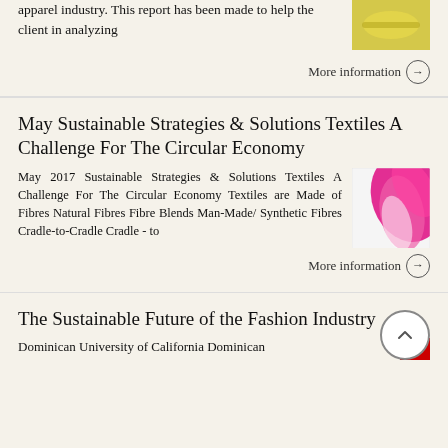apparel industry. This report has been made to help the client in analyzing
More information →
May Sustainable Strategies & Solutions Textiles A Challenge For The Circular Economy
May 2017 Sustainable Strategies & Solutions Textiles A Challenge For The Circular Economy Textiles are Made of Fibres Natural Fibres Fibre Blends Man-Made/ Synthetic Fibres Cradle-to-Cradle Cradle - to
More information →
The Sustainable Future of the Fashion Industry
Dominican University of California Dominican